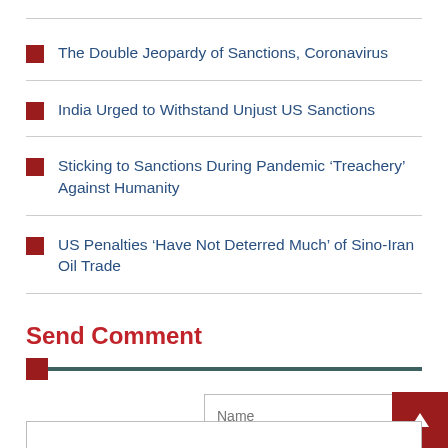The Double Jeopardy of Sanctions, Coronavirus
India Urged to Withstand Unjust US Sanctions
Sticking to Sanctions During Pandemic ‘Treachery’ Against Humanity
US Penalties ‘Have Not Deterred Much’ of Sino-Iran Oil Trade
Send Comment
Name
Email